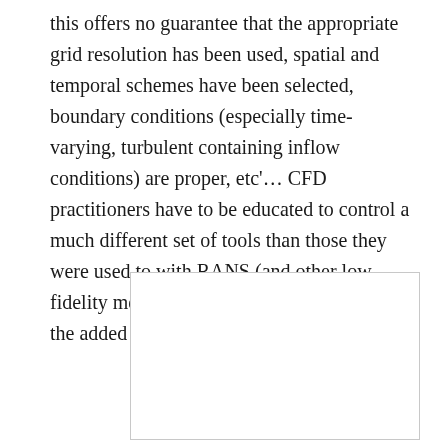this offers no guarantee that the appropriate grid resolution has been used, spatial and temporal schemes have been selected, boundary conditions (especially time-varying, turbulent containing inflow conditions) are proper, etc'… CFD practitioners have to be educated to control a much different set of tools than those they were used to with RANS (and other low fidelity methodologies) to actually achieve the added benefit that LES could provide.
[Figure (other): Empty bordered rectangle/box, likely a placeholder for a figure or image.]